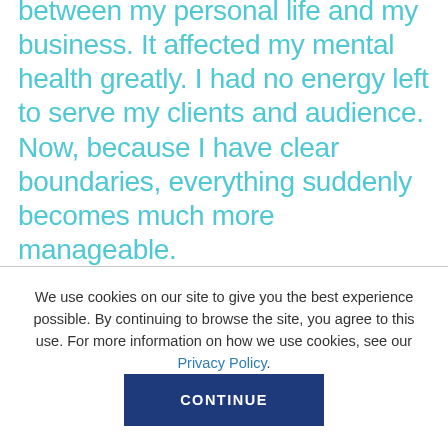between my personal life and my business. It affected my mental health greatly. I had no energy left to serve my clients and audience. Now, because I have clear boundaries, everything suddenly becomes much more manageable.
We use cookies on our site to give you the best experience possible. By continuing to browse the site, you agree to this use. For more information on how we use cookies, see our Privacy Policy.
CONTINUE